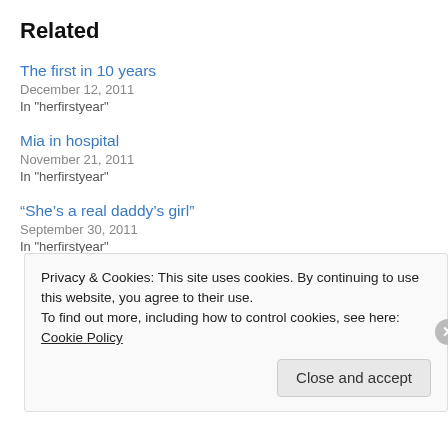Related
The first in 10 years
December 12, 2011
In "herfirstyear"
Mia in hospital
November 21, 2011
In "herfirstyear"
“She’s a real daddy’s girl”
September 30, 2011
In "herfirstyear"
Privacy & Cookies: This site uses cookies. By continuing to use this website, you agree to their use.
To find out more, including how to control cookies, see here: Cookie Policy
Close and accept